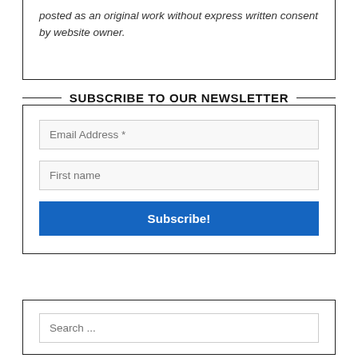posted as an original work without express written consent by website owner.
SUBSCRIBE TO OUR NEWSLETTER
Email Address *
First name
Subscribe!
Search ...